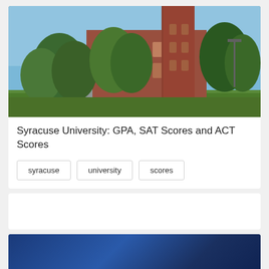[Figure (photo): Photograph of Syracuse University campus showing a large Victorian Gothic red brick building with a tall tower, green trees in the foreground and background, blue sky]
Syracuse University: GPA, SAT Scores and ACT Scores
syracuse
university
scores
[Figure (photo): Partial view of a second card with a dark blue background, possibly another article thumbnail]